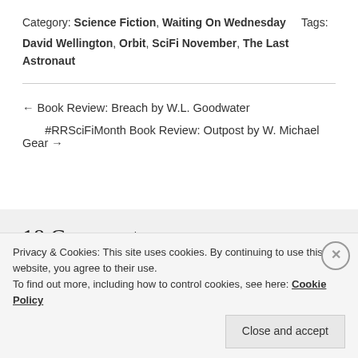Category: Science Fiction, Waiting On Wednesday    Tags: David Wellington, Orbit, SciFi November, The Last Astronaut
← Book Review: Breach by W.L. Goodwater
#RRSciFiMonth Book Review: Outpost by W. Michael Gear →
18 Comments on "#RRSciFiMonth Waiting on Wednesday 11/28/18"
Privacy & Cookies: This site uses cookies. By continuing to use this website, you agree to their use.
To find out more, including how to control cookies, see here: Cookie Policy